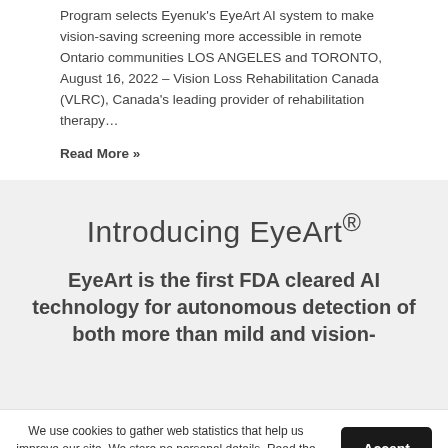Program selects Eyenuk's EyeArt AI system to make vision-saving screening more accessible in remote Ontario communities LOS ANGELES and TORONTO, August 16, 2022 – Vision Loss Rehabilitation Canada (VLRC), Canada's leading provider of rehabilitation therapy…
Read More »
Introducing EyeArt®
EyeArt is the first FDA cleared AI technology for autonomous detection of both more than mild and vision-
We use cookies to gather web statistics that help us improve our site. We store no personal details. Read the Website Terms of Service and Privacy Policy.